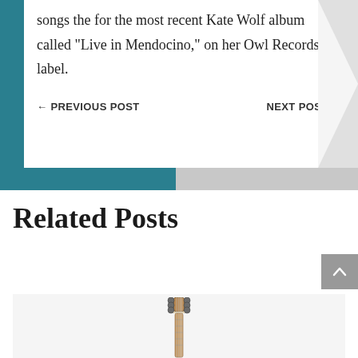songs the for the most recent Kate Wolf album called “Live in Mendocino,” on her Owl Records label.
← PREVIOUS POST
NEXT POST →
Related Posts
[Figure (photo): Photograph of the back of a guitar neck/headstock, showing tuning pegs, on a light grey background]